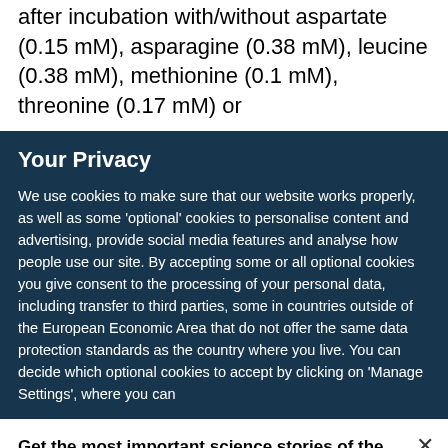after incubation with/without aspartate (0.15 mM), asparagine (0.38 mM), leucine (0.38 mM), methionine (0.1 mM), threonine (0.17 mM) or
Your Privacy
We use cookies to make sure that our website works properly, as well as some 'optional' cookies to personalise content and advertising, provide social media features and analyse how people use our site. By accepting some or all optional cookies you give consent to the processing of your personal data, including transfer to third parties, some in countries outside of the European Economic Area that do not offer the same data protection standards as the country where you live. You can decide which optional cookies to accept by clicking on 'Manage Settings', where you can
Get the most important science stories of the day, free in your inbox.
Sign up for Nature Briefing